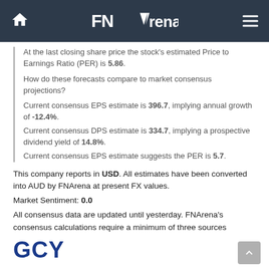FNArena
At the last closing share price the stock's estimated Price to Earnings Ratio (PER) is 5.86.
How do these forecasts compare to market consensus projections?
Current consensus EPS estimate is 396.7, implying annual growth of -12.4%.
Current consensus DPS estimate is 334.7, implying a prospective dividend yield of 14.8%.
Current consensus EPS estimate suggests the PER is 5.7.
This company reports in USD. All estimates have been converted into AUD by FNArena at present FX values.
Market Sentiment: 0.0
All consensus data are updated until yesterday. FNArena's consensus calculations require a minimum of three sources
GCY    GASCOYNE RESOURCES LIMITED